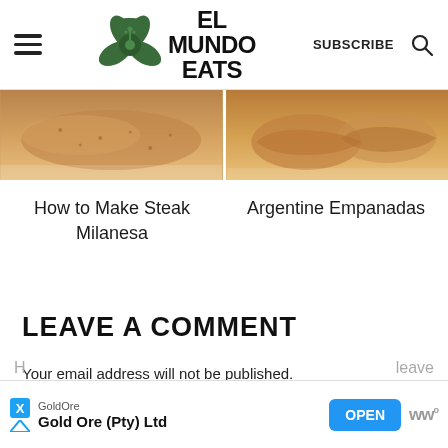EL MUNDO EATS | SUBSCRIBE
[Figure (photo): Close-up food photo on left side showing Steak Milanesa dish]
[Figure (photo): Close-up food photo on right side showing Argentine Empanadas]
How to Make Steak Milanesa
Argentine Empanadas
LEAVE A COMMENT
Your email address will not be published. Required fields are marked *
[Figure (other): GoldOre advertisement banner: Gold Ore (Pty) Ltd with OPEN button]